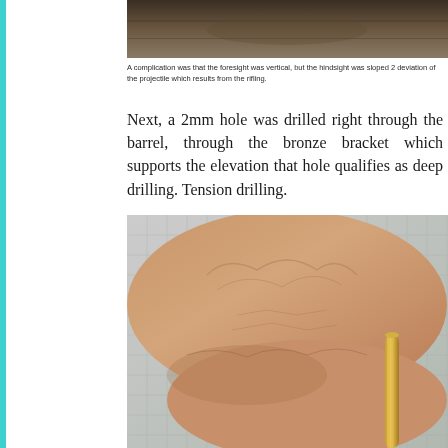[Figure (photo): Top portion of a photo showing a dark brown/rust-colored metal surface, likely a gun barrel or metal object]
A complication was that the foresight was vertical, but the hindsight was sloped 2 deviation of the projectile which results from the rifling.
Next, a 2mm hole was drilled right through the barrel, through the bronze bracket which supports the elevation that hole qualifies as deep drilling. Tension drilling.
[Figure (photo): Close-up photo of hands holding a small brass/gold cylindrical tube or rod, with a checkered fabric surface visible in background]